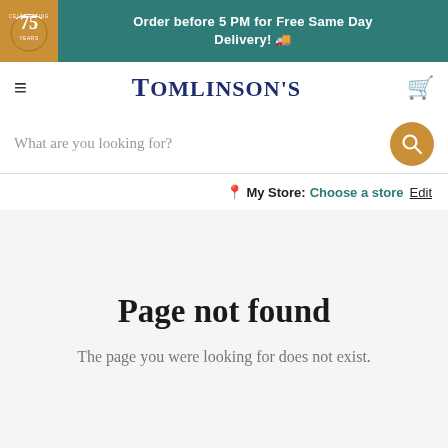Order before 5 PM for Free Same Day Delivery! 🚚
[Figure (logo): Tomlinson's 75 years celebrating badge in gold on teal background]
Tomlinson's
What are you looking for?
My Store: Choose a store Edit
Page not found
The page you were looking for does not exist.